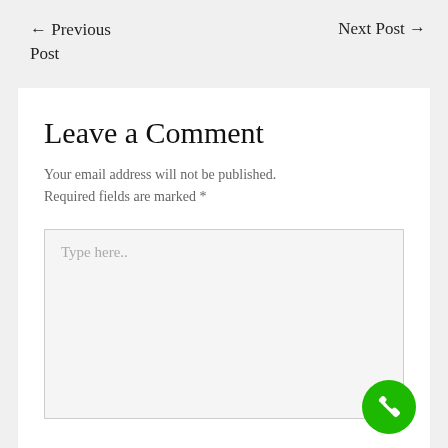← Previous Post
Next Post →
Leave a Comment
Your email address will not be published.
Required fields are marked *
Type here..
[Figure (illustration): Green circular phone call button icon in bottom right corner]